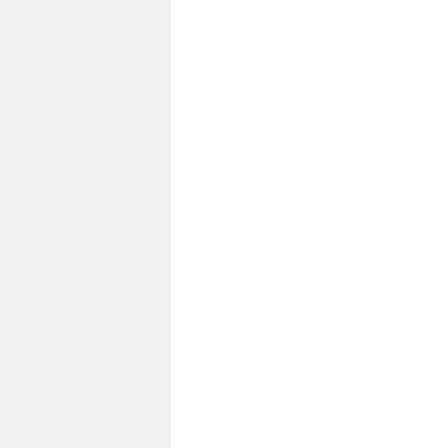hi pa to ge to th m to er or so lif ch tri he so fo or th or co su th el w